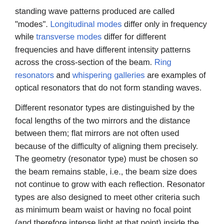standing wave patterns produced are called "modes". Longitudinal modes differ only in frequency while transverse modes differ for different frequencies and have different intensity patterns across the cross-section of the beam. Ring resonators and whispering galleries are examples of optical resonators that do not form standing waves.
Different resonator types are distinguished by the focal lengths of the two mirrors and the distance between them; flat mirrors are not often used because of the difficulty of aligning them precisely. The geometry (resonator type) must be chosen so the beam remains stable, i.e., the beam size does not continue to grow with each reflection. Resonator types are also designed to meet other criteria such as minimum beam waist or having no focal point (and therefore intense light at that point) inside the cavity.
Optical cavities are designed to have a very large Q factor.[13] A beam reflects a large number of times with little attenuation—therefore the frequency line width of the beam is small compared to the frequency of the laser.
Additional optical resonances are guided-mode resonances and